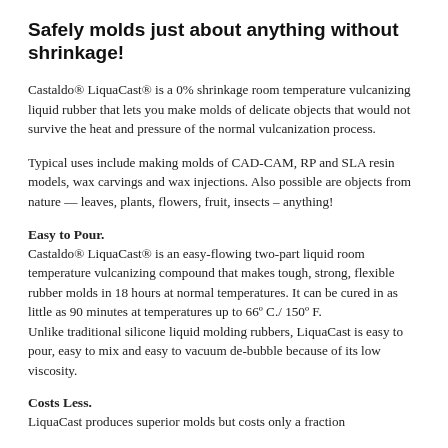Safely molds just about anything without shrinkage!
Castaldo® LiquaCast® is a 0% shrinkage room temperature vulcanizing liquid rubber that lets you make molds of delicate objects that would not survive the heat and pressure of the normal vulcanization process.
Typical uses include making molds of CAD-CAM, RP and SLA resin models, wax carvings and wax injections. Also possible are objects from nature — leaves, plants, flowers, fruit, insects – anything!
Easy to Pour.
Castaldo® LiquaCast® is an easy-flowing two-part liquid room temperature vulcanizing compound that makes tough, strong, flexible rubber molds in 18 hours at normal temperatures. It can be cured in as little as 90 minutes at temperatures up to 66º C./ 150º F.
Unlike traditional silicone liquid molding rubbers, LiquaCast is easy to pour, easy to mix and easy to vacuum de-bubble because of its low viscosity.
Costs Less.
LiquaCast produces superior molds but costs only a fraction